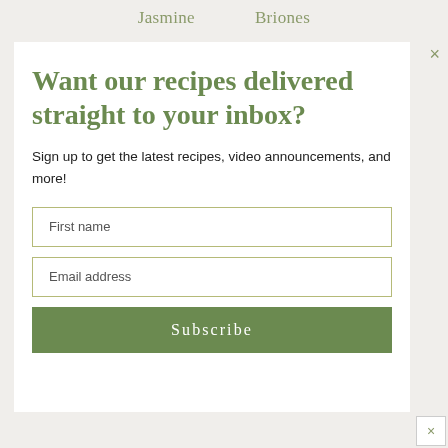Jasmine   Briones
Want our recipes delivered straight to your inbox?
Sign up to get the latest recipes, video announcements, and more!
First name
Email address
Subscribe